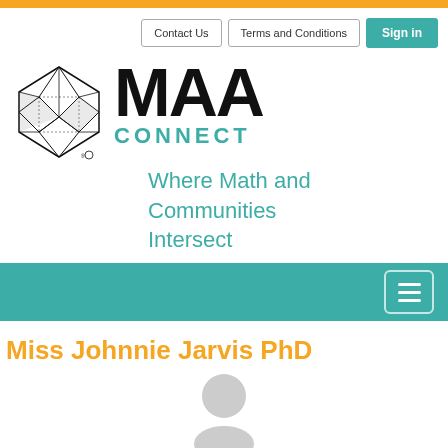Contact Us | Terms and Conditions | Sign in
[Figure (logo): MAA Connect logo with geometric polyhedron icon and text MAA CONNECT]
Where Math and Communities Intersect
[Figure (other): Teal navigation bar with hamburger menu icon]
Miss Johnnie Jarvis PhD
[Figure (other): Upload profile photo icon with person silhouette and UPLOAD text]